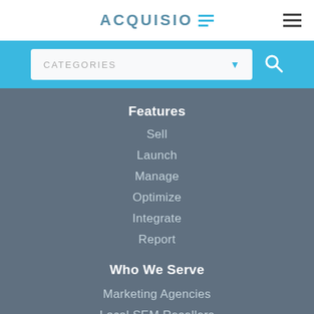ACQUISIO
CATEGORIES
Features
Sell
Launch
Manage
Optimize
Integrate
Report
Who We Serve
Marketing Agencies
Local SEM Resellers